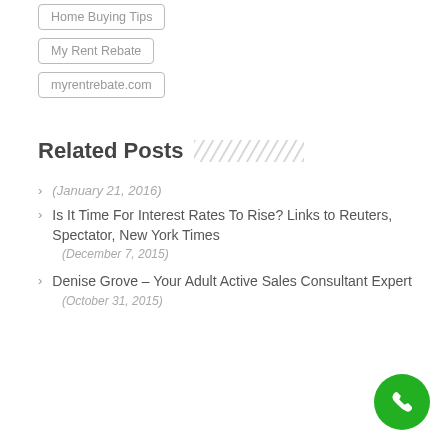Home Buying Tips
My Rent Rebate
myrentrebate.com
Related Posts
(January 21, 2016)
Is It Time For Interest Rate To Rise? Links to Reuters, Spectator, New York Times
(December 7, 2015)
Denise Grove – Your Adult Active Sales Consultant Expert
(October 31, 2015)